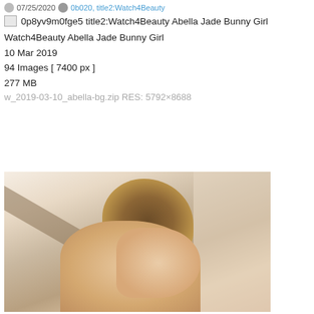07/25/2020  0b020, title2:Watch4Beauty
0p8yv9m0fge5 title2:Watch4Beauty Abella Jade Bunny Girl
Watch4Beauty Abella Jade Bunny Girl
10 Mar 2019
94 Images [ 7400 px ]
277 MB
w_2019-03-10_abella-bg.zip RES: 5792×8688
[Figure (photo): Portrait photo of a woman with long highlighted hair, viewed from behind/side, in a warm light interior setting with wooden beam visible]